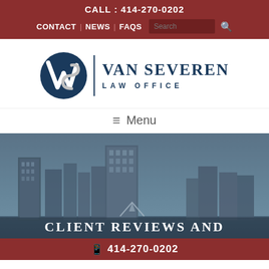CALL : 414-270-0202
CONTACT | NEWS | FAQS
[Figure (logo): Van Severen Law Office logo with VS monogram and firm name]
☰ Menu
[Figure (photo): Grayscale city skyline photo with blue overlay, Milwaukee cityscape]
CLIENT REVIEWS AND
📱 414-270-0202